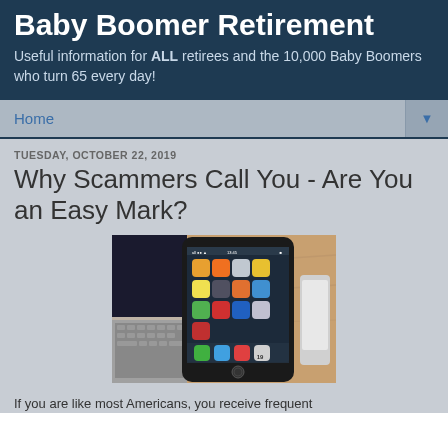Baby Boomer Retirement
Useful information for ALL retirees and the 10,000 Baby Boomers who turn 65 every day!
Home ▼
TUESDAY, OCTOBER 22, 2019
Why Scammers Call You - Are You an Easy Mark?
[Figure (photo): A smartphone (iPhone) with colorful app icons on its screen, sitting on a wooden surface with a laptop visible in the background]
If you are like most Americans, you receive frequent